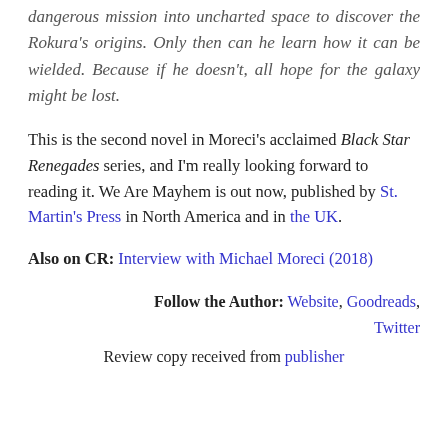dangerous mission into uncharted space to discover the Rokura's origins. Only then can he learn how it can be wielded. Because if he doesn't, all hope for the galaxy might be lost.
This is the second novel in Moreci's acclaimed Black Star Renegades series, and I'm really looking forward to reading it. We Are Mayhem is out now, published by St. Martin's Press in North America and in the UK.
Also on CR: Interview with Michael Moreci (2018)
Follow the Author: Website, Goodreads, Twitter
Review copy received from publisher